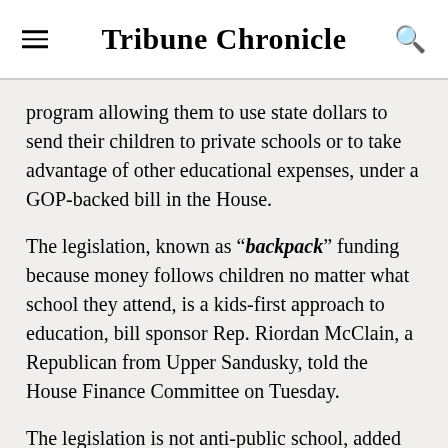Tribune Chronicle
program allowing them to use state dollars to send their children to private schools or to take advantage of other educational expenses, under a GOP-backed bill in the House.
The legislation, known as “backpack” funding because money follows children no matter what school they attend, is a kids-first approach to education, bill sponsor Rep. Riordan McClain, a Republican from Upper Sandusky, told the House Finance Committee on Tuesday.
The legislation is not anti-public school, added bill co-sponsor Rep. Marilyn John, a Shelby Republican. “It is a pro-child, pro-parent, pro-family bill, which